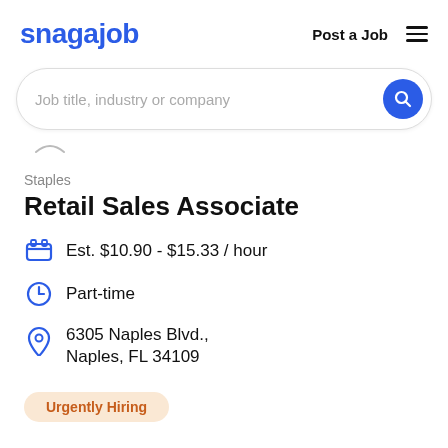snagajob  Post a Job  ≡
[Figure (screenshot): Search bar with placeholder text 'Job title, industry or company' and a blue circular search button]
Staples
Retail Sales Associate
Est. $10.90 - $15.33 / hour
Part-time
6305 Naples Blvd., Naples, FL 34109
Urgently Hiring